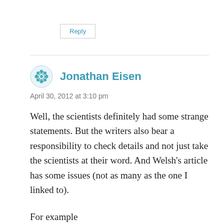Reply
Jonathan Eisen
April 30, 2012 at 3:10 pm
Well, the scientists definitely had some strange statements. But the writers also bear a responsibility to check details and not just take the scientists at their word. And Welsh's article has some issues (not as many as the one I linked to).
For example
" If that's true, they would be some of the